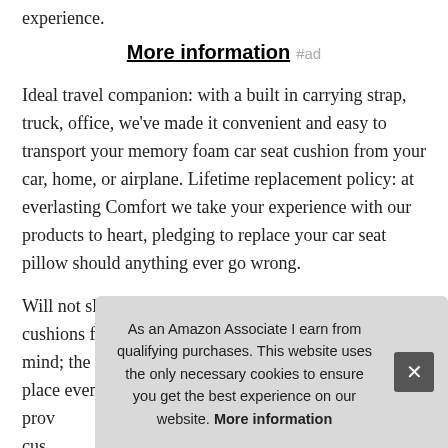experience.
More information #ad
Ideal travel companion: with a built in carrying strap, truck, office, we've made it convenient and easy to transport your memory foam car seat cushion from your car, home, or airplane. Lifetime replacement policy: at everlasting Comfort we take your experience with our products to heart, pledging to replace your car seat pillow should anything ever go wrong.
Will not slip out underneath you: we built our car cushions for driving with functionality and safety in mind; the non slip bottom grips the seat, staying in place even if you shift arou... prov... cus... STA... cus...
As an Amazon Associate I earn from qualifying purchases. This website uses the only necessary cookies to ensure you get the best experience on our website. More information